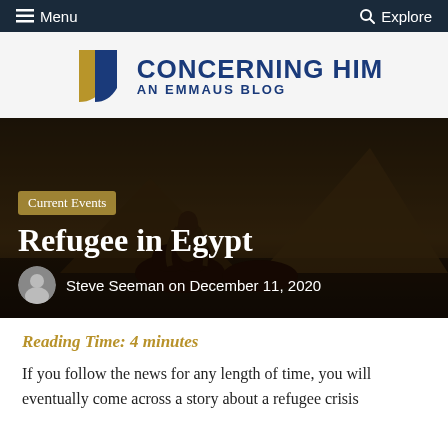Menu   Explore
[Figure (logo): Concerning Him - An Emmaus Blog logo with gold and blue shield icon]
[Figure (photo): Hero image showing figures on camels with Egyptian pyramids in the background at dusk, dark atmospheric tones]
Current Events
Refugee in Egypt
Steve Seeman on December 11, 2020
Reading Time: 4 minutes
If you follow the news for any length of time, you will eventually come across a story about a refugee crisis